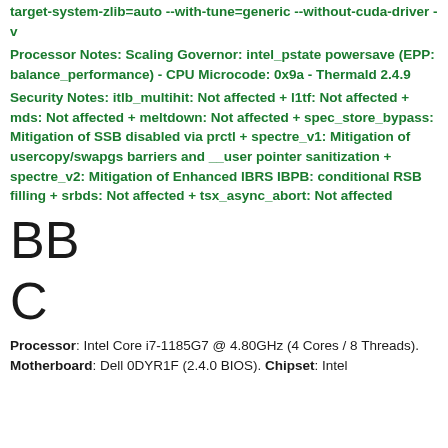target-system-zlib=auto --with-tune=generic --without-cuda-driver -v
Processor Notes: Scaling Governor: intel_pstate powersave (EPP: balance_performance) - CPU Microcode: 0x9a - Thermald 2.4.9
Security Notes: itlb_multihit: Not affected + l1tf: Not affected + mds: Not affected + meltdown: Not affected + spec_store_bypass: Mitigation of SSB disabled via prctl + spectre_v1: Mitigation of usercopy/swapgs barriers and __user pointer sanitization + spectre_v2: Mitigation of Enhanced IBRS IBPB: conditional RSB filling + srbds: Not affected + tsx_async_abort: Not affected
BB
C
Processor: Intel Core i7-1185G7 @ 4.80GHz (4 Cores / 8 Threads). Motherboard: Dell 0DYR1F (2.4.0 BIOS). Chipset: Intel